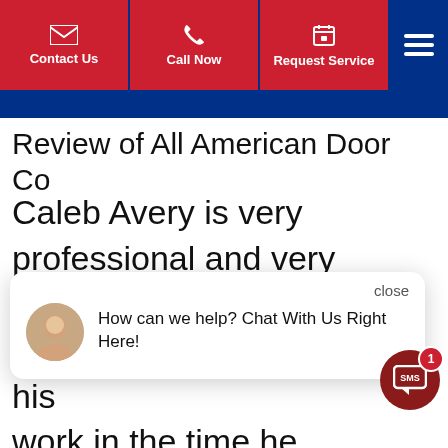[Figure (screenshot): Navigation bar with Contact Us, Call Now, Request Service buttons and hamburger menu]
Review of All American Door Co
Caleb Avery is very professional and very addressed the issues immediately and finished his work in the time he estimated. Great work, take care of Caleb
[Figure (infographic): Chat overlay popup with avatar photo and message: How can we help? Chat With Us Right Here! with close button]
[Figure (infographic): SMS button (red circle with SMS text) with notification badge showing 1]